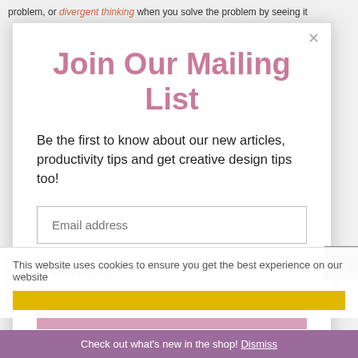problem, or divergent thinking when you solve the problem by seeing it
Join Our Mailing List
Be the first to know about our new articles, productivity tips and get creative design tips too!
Email address
First name
This website uses cookies to ensure you get the best experience on our website
Check out what's new in the shop! Dismiss